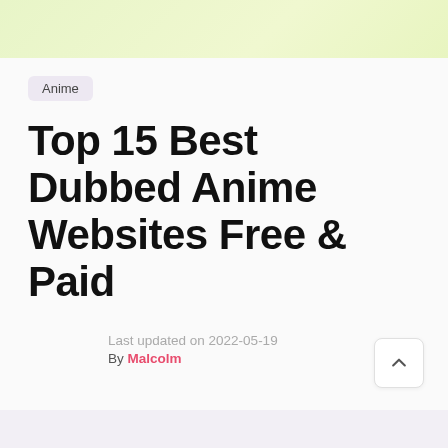[Figure (other): Light green gradient banner strip at the top of the page]
Anime
Top 15 Best Dubbed Anime Websites Free & Paid
Last updated on 2022-05-19
By Malcolm